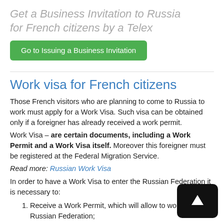Get a Business Invitation to Russia for French citizens by a Telex
Go to Issuing a Business Invitation
Work visa for French citizens
Those French visitors who are planning to come to Russia to work must apply for a Work Visa. Such visa can be obtained only if a foreigner has already received a work permit.
Work Visa – are certain documents, including a Work Permit and a Work Visa itself. Moreover this foreigner must be registered at the Federal Migration Service.
Read more: Russian Work Visa
In order to have a Work Visa to enter the Russian Federation it is necessary to:
Receive a Work Permit, which will allow to work in the Russian Federation;
Obtain a Work Visa valid for 3 months;
Register at the Migration Service and ...